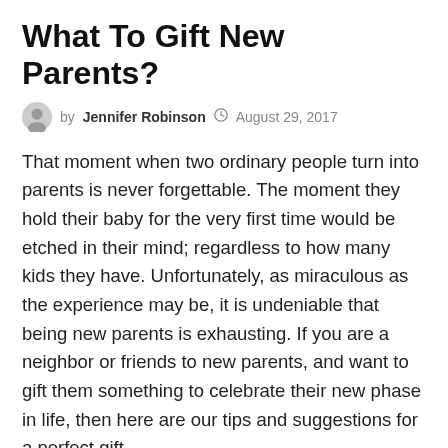What To Gift New Parents?
by Jennifer Robinson  August 29, 2017
That moment when two ordinary people turn into parents is never forgettable. The moment they hold their baby for the very first time would be etched in their mind; regardless to how many kids they have. Unfortunately, as miraculous as the experience may be, it is undeniable that being new parents is exhausting. If you are a neighbor or friends to new parents, and want to gift them something to celebrate their new phase in life, then here are our tips and suggestions for a perfect gift.
Something that will make their days less complicated New parents, especially first time parents, usually feel overwhelmed pretty early into their baby's life. The baby's sleeping pattern will affect their own, and when